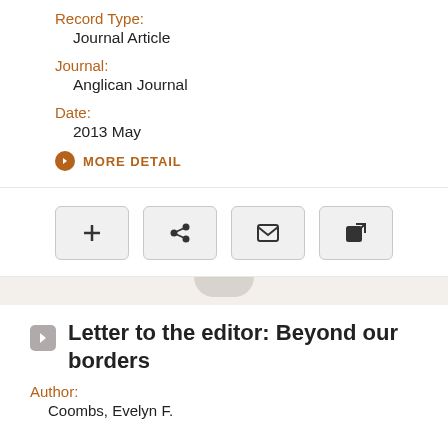Record Type:
Journal Article
Journal:
Anglican Journal
Date:
2013 May
MORE DETAIL
[Figure (other): Four action buttons: add (+), share, email (envelope), external link]
Letter to the editor: Beyond our borders
Author:
Coombs, Evelyn F.